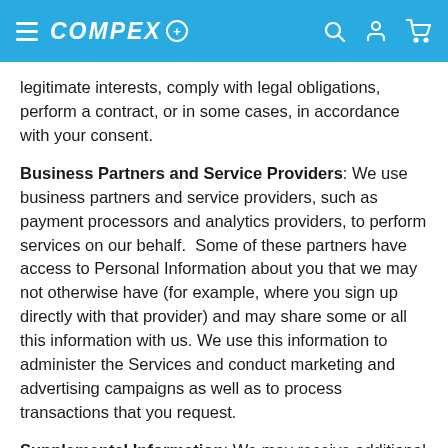COMPEX
legitimate interests, comply with legal obligations, perform a contract, or in some cases, in accordance with your consent.
Business Partners and Service Providers: We use business partners and service providers, such as payment processors and analytics providers, to perform services on our behalf. Some of these partners have access to Personal Information about you that we may not otherwise have (for example, where you sign up directly with that provider) and may share some or all this information with us. We use this information to administer the Services and conduct marketing and advertising campaigns as well as to process transactions that you request.
Supplemental Information: We may receive additional Personal Information from third-party sources, such as credit reference agencies and public databases, which we